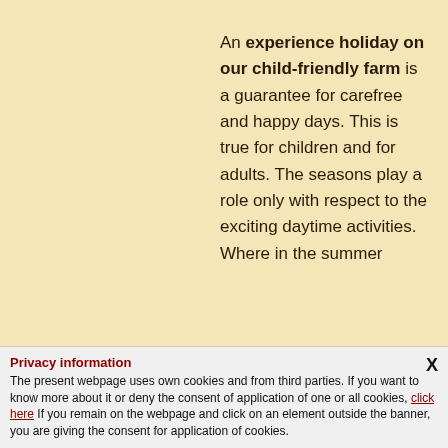An experience holiday on our child-friendly farm is a guarantee for carefree and happy days. This is true for children and for adults. The seasons play a role only with respect to the exciting daytime activities. Where in the summer
Privacy information
The present webpage uses own cookies and from third parties. If you want to know more about it or deny the consent of application of one or all cookies, click here. If you remain on the webpage and click on an element outside the banner, you are giving the consent for application of cookies.